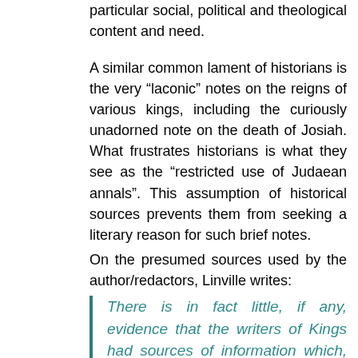particular social, political and theological content and need.
A similar common lament of historians is the very “laconic” notes on the reigns of various kings, including the curiously unadorned note on the death of Josiah. What frustrates historians is what they see as the “restricted use of Judaean annals”. This assumption of historical sources prevents them from seeking a literary reason for such brief notes.
On the presumed sources used by the author/redactors, Linville writes:
There is in fact little, if any, evidence that the writers of Kings had sources of information which, by their very genre, must be accorded a great level